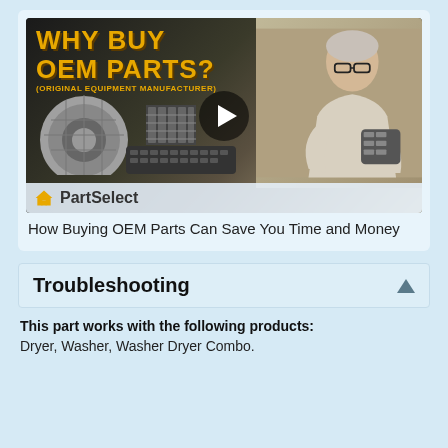[Figure (screenshot): Video thumbnail for PartSelect showing 'WHY BUY OEM PARTS? (ORIGINAL EQUIPMENT MANUFACTURER)' with parts images and a man holding appliance components, with a play button overlay and PartSelect logo.]
How Buying OEM Parts Can Save You Time and Money
Troubleshooting
This part works with the following products:
Dryer, Washer, Washer Dryer Combo.